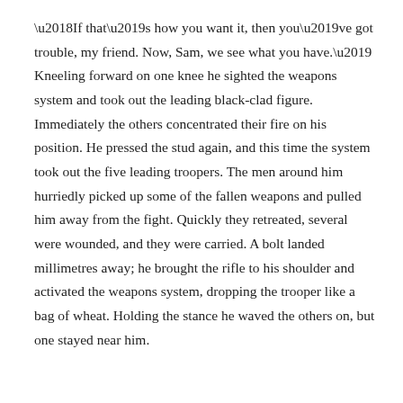'If that's how you want it, then you've got trouble, my friend. Now, Sam, we see what you have.' Kneeling forward on one knee he sighted the weapons system and took out the leading black-clad figure. Immediately the others concentrated their fire on his position. He pressed the stud again, and this time the system took out the five leading troopers. The men around him hurriedly picked up some of the fallen weapons and pulled him away from the fight. Quickly they retreated, several were wounded, and they were carried. A bolt landed millimetres away; he brought the rifle to his shoulder and activated the weapons system, dropping the trooper like a bag of wheat. Holding the stance he waved the others on, but one stayed near him.